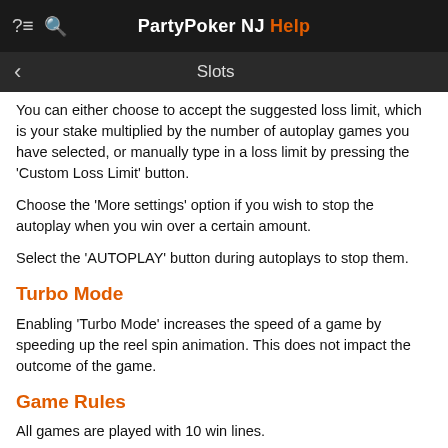PartyPoker NJ Help — Slots
You can either choose to accept the suggested loss limit, which is your stake multiplied by the number of autoplay games you have selected, or manually type in a loss limit by pressing the 'Custom Loss Limit' button.
Choose the 'More settings' option if you wish to stop the autoplay when you win over a certain amount.
Select the 'AUTOPLAY' button during autoplays to stop them.
Turbo Mode
Enabling 'Turbo Mode' increases the speed of a game by speeding up the reel spin animation. This does not impact the outcome of the game.
Game Rules
All games are played with 10 win lines.
All games are played with 10 win lines.